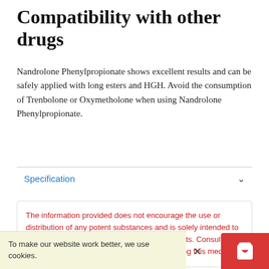Compatibility with other drugs
Nandrolone Phenylpropionate shows excellent results and can be safely applied with long esters and HGH. Avoid the consumption of Trenbolone or Oxymetholone when using Nandrolone Phenylpropionate.
Specification
The information provided does not encourage the use or distribution of any potent substances and is solely intended to reduce the risk of complications and side effects. Consult your physician and read the instructions before using this medicine.
To make our website work better, we use cookies.